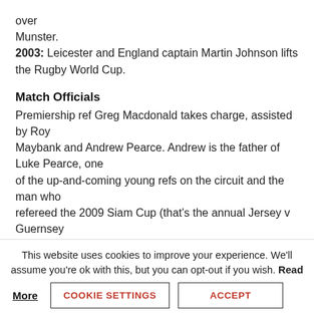over
Munster.
2003: Leicester and England captain Martin Johnson lifts the Rugby World Cup.
Match Officials
Premiership ref Greg Macdonald takes charge, assisted by Roy
Maybank and Andrew Pearce. Andrew is the father of Luke Pearce, one
of the up-and-coming young refs on the circuit and the man who
refereed the 2009 Siam Cup (that's the annual Jersey v Guernsey
clash for those who didn't know) at the tender age of 21.
Ticket News
This website uses cookies to improve your experience. We'll assume you're ok with this, but you can opt-out if you wish. Read More
COOKIE SETTINGS
ACCEPT